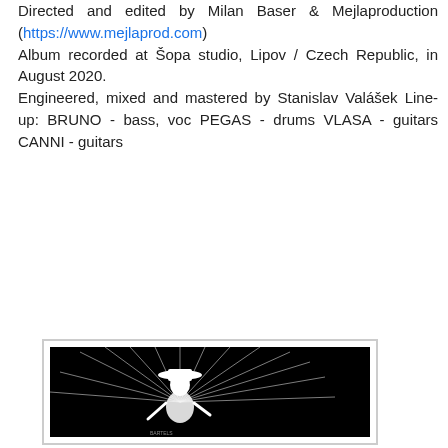Directed and edited by Milan Baser & Mejlaproduction (https://www.mejlaprod.com) Album recorded at Šopa studio, Lipov / Czech Republic, in August 2020. Engineered, mixed and mastered by Stanislav Valášek Line-up: BRUNO - bass, voc PEGAS - drums VLASA - guitars CANNI - guitars
[Figure (illustration): Black and white illustration of a figure wearing a hat, with radiating lines behind them, on a black background, inside a white-bordered box.]